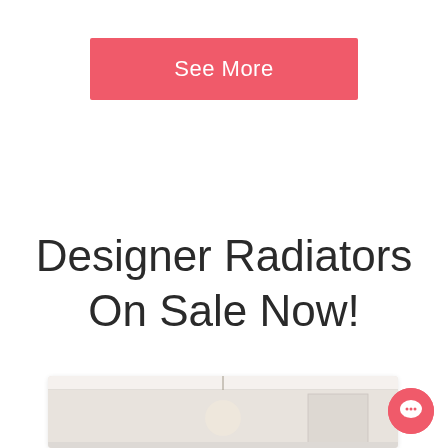See More
Designer Radiators On Sale Now!
[Figure (photo): Interior room photo showing ceiling with pendant light and wall panel, partially visible inside a card/tile layout]
[Figure (other): Chat bubble icon — pink circle with white speech bubble symbol, positioned bottom-right]